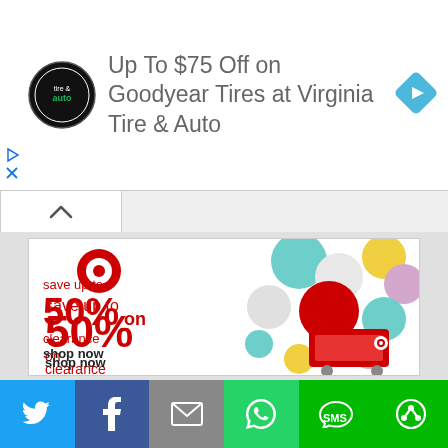[Figure (screenshot): Virginia Tire & Auto advertisement banner with circular logo showing 'tire & auto' text, navigation arrow icon on right, and play/close controls on left]
Up To $75 Off on Goodyear Tires at Virginia Tire & Auto
[Figure (infographic): Target advertisement showing Target bullseye logo, colorful balloons/balls, red shopping cart, text: save up to 50% on clearance, shop now]
[Figure (infographic): Social sharing bar with Twitter, Facebook, Email, WhatsApp, SMS, and Share buttons]